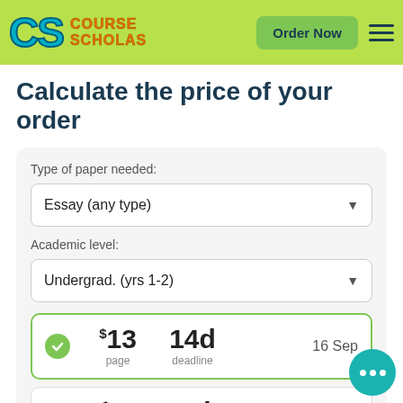[Figure (logo): CourseScholas logo with 'CS' in teal and 'COURSE SCHOLAS' in orange, on green background header with 'Order Now' button and hamburger menu]
Calculate the price of your order
Type of paper needed:
Essay (any type)
Academic level:
Undergrad. (yrs 1-2)
$13 page | 14d deadline | 16 Sep
$15 page | 7d deadline | 9 Sep